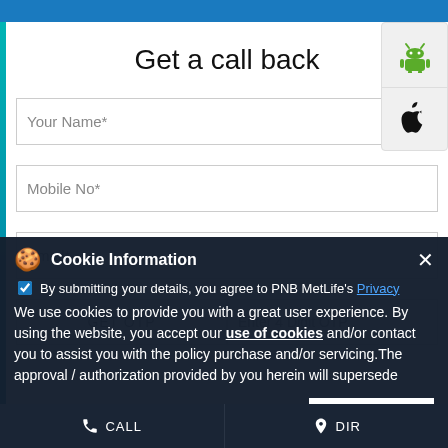Get a call back
Your Name*
Mobile No*
Email*
GET OTP | Enter 4 Digit OTP
[Figure (logo): Android robot logo (green)]
[Figure (logo): Apple logo (black)]
Cookie Information
By submitting your details, you agree to PNB MetLife's Privacy
We use cookies to provide you with a great user experience. By using the website, you accept our use of cookies and/or contact you to assist you with the policy purchase and/or servicing. The approval / authorization provided by you herein will supersede
I ACCEPT
CALL | DIRECTIONS